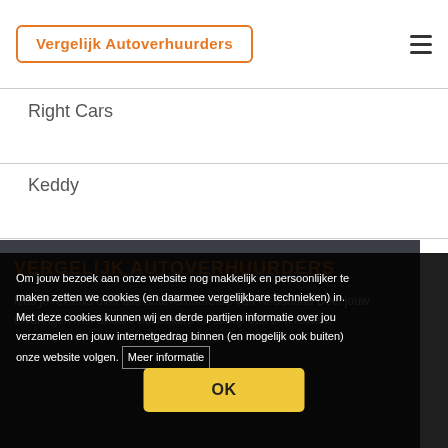[Figure (logo): Vergelijk Autoverhuurders logo in orange text inside an orange rounded rectangle border]
Right Cars
Keddy
VERGELIJK AUTOVERHUURDERS
lees je reviews over alle autoverhuurders van Nederland Deel jouw ervaringen met andere bezoekers en schrijf ook een review!
Om jouw bezoek aan onze website nog makkelijk en persoonlijker te maken zetten we cookies (en daarmee vergelijkbare technieken) in. Met deze cookies kunnen wij en derde partijen informatie over jou verzamelen en jouw internetgedrag binnen (en mogelijk ook buiten) onze website volgen. Meer informatie
OK